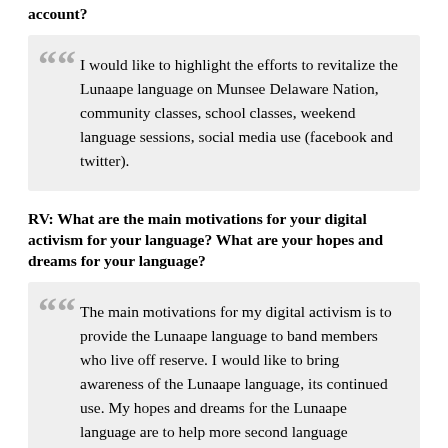account?
I would like to highlight the efforts to revitalize the Lunaape language on Munsee Delaware Nation, community classes, school classes, weekend language sessions, social media use (facebook and twitter).
RV: What are the main motivations for your digital activism for your language? What are your hopes and dreams for your language?
The main motivations for my digital activism is to provide the Lunaape language to band members who live off reserve. I would like to bring awareness of the Lunaape language, its continued use. My hopes and dreams for the Lunaape language are to help more second language